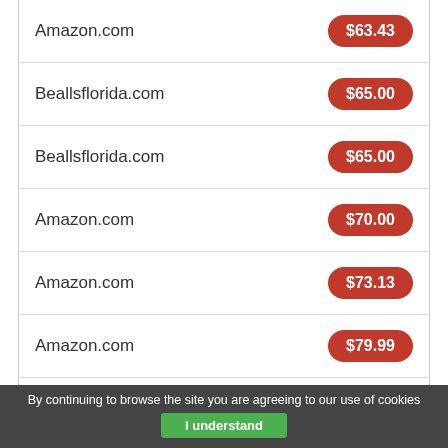| Store | Price |
| --- | --- |
| Amazon.com | $63.43 |
| Beallsflorida.com | $65.00 |
| Beallsflorida.com | $65.00 |
| Amazon.com | $70.00 |
| Amazon.com | $73.13 |
| Amazon.com | $79.99 |
| Amazon.com | $79.99 |
Last Amazon price update was: August 30, 2022 4:32 am
By continuing to browse the site you are agreeing to our use of cookies
I understand